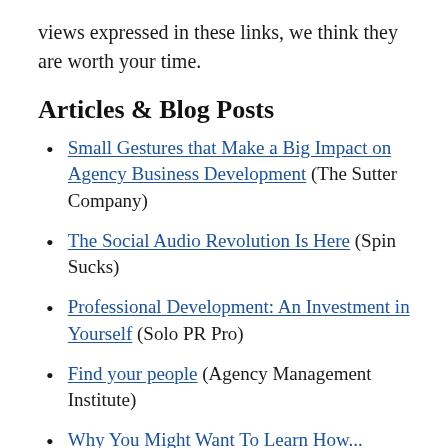views expressed in these links, we think they are worth your time.
Articles & Blog Posts
Small Gestures that Make a Big Impact on Agency Business Development (The Sutter Company)
The Social Audio Revolution Is Here (Spin Sucks)
Professional Development: An Investment in Yourself (Solo PR Pro)
Find your people (Agency Management Institute)
Why You Might Want To Learn How...